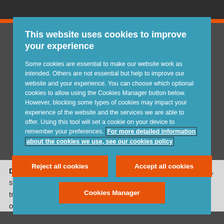This website uses cookies to improve your experience
Some cookies are essential to make our website work as intended. Others are not essential but help to improve our website and your experience. You can choose which optional cookies to allow using the Cookies Manager button below. However, blocking some types of cookies may impact your experience of the website and the services we are able to offer. Using this tool will set a cookie on your device to remember your preferences. For more detailed information about the cookies we use, see our cookies policy
DEFRA has published proposals to establish an independent, statutory environmental body in time for the end of the Brexit transition period in December 2020. The proposals form part of the Environmental Principles and